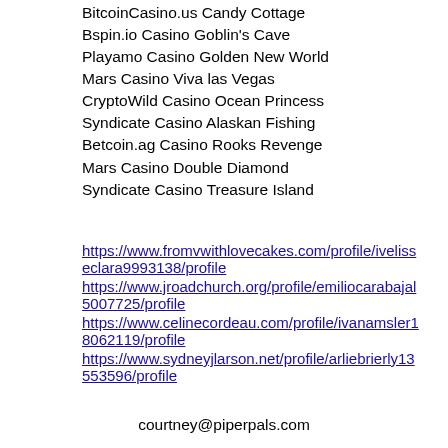BitcoinCasino.us Candy Cottage
Bspin.io Casino Goblin's Cave
Playamo Casino Golden New World
Mars Casino Viva las Vegas
CryptoWild Casino Ocean Princess
Syndicate Casino Alaskan Fishing
Betcoin.ag Casino Rooks Revenge
Mars Casino Double Diamond
Syndicate Casino Treasure Island
https://www.fromvwithlovecakes.com/profile/ivelisseclara9993138/profile
https://www.jroadchurch.org/profile/emiliocarabajal5007725/profile
https://www.celinecordeau.com/profile/ivanamsler18062119/profile
https://www.sydneyjlarson.net/profile/arliebrierly13553596/profile
courtney@piperpals.com